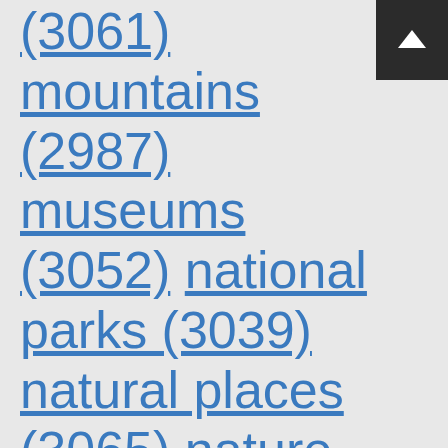(3061) mountains (2987) museums (3052) national parks (3039) natural places (3065) nature (3072) nature reserves (2945) off-road trails (3012) parks (3064) playgrounds (2699) religious sites (3033) rivers (3059) running (3021) scenic roads (3042) secret (3049) shooting ranges
[Figure (other): Navigation up arrow button in dark background top right corner]